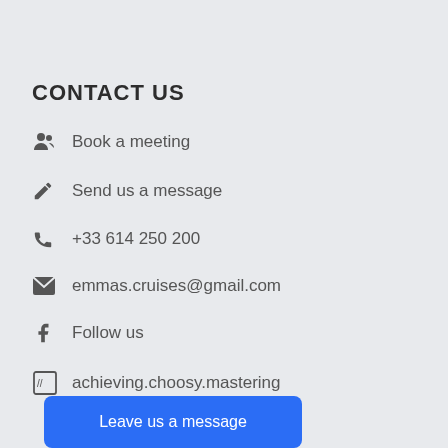CONTACT US
Book a meeting
Send us a message
+33 614 250 200
emmas.cruises@gmail.com
Follow us
achieving.choosy.mastering
Leave us a message